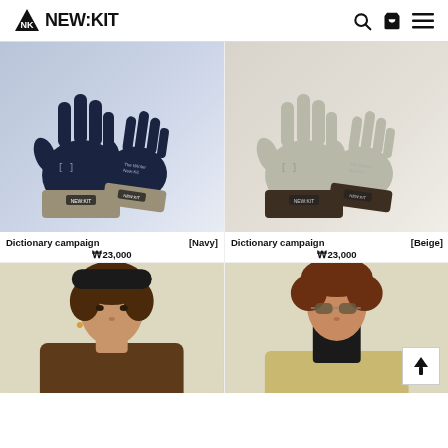NEW:KIT
[Figure (photo): Navy knit gloves with beige cuffs product photo on blue-gray background]
Dictionary campaign [Navy]
₩23,000
[Figure (photo): Beige/gray knit gloves with dark brown cuffs product photo on light gray background]
Dictionary campaign [Beige]
₩23,000
[Figure (photo): Male model wearing dark hat and jacket — portrait on cream background]
[Figure (photo): Male model with curly hair wearing beige jacket — portrait on cream background]